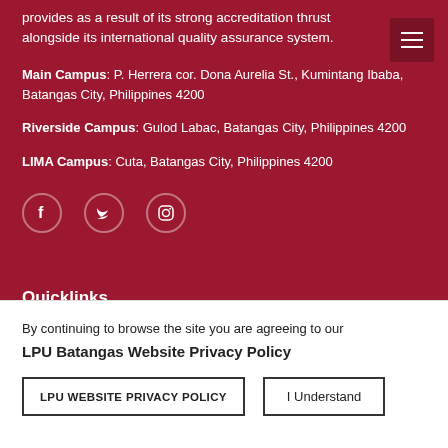provides as a result of its strong accreditation thrust alongside its international quality assurance system.
Main Campus: P. Herrera cor. Dona Aurelia St., Kumintang Ibaba, Batangas City, Philippines 4200
Riverside Campus: Gulod Labac, Batangas City, Philippines 4200
LIMA Campus: Cuta, Batangas City, Philippines 4200
[Figure (infographic): Social media icons: Facebook, Twitter, Instagram]
Quicklinks
By continuing to browse the site you are agreeing to our LPU Batangas Website Privacy Policy
LPU WEBSITE PRIVACY POLICY
I Understand